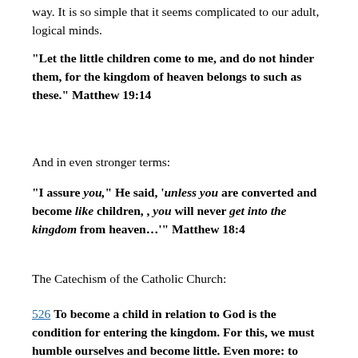way. It is so simple that it seems complicated to our adult, logical minds.
“Let the little children come to me, and do not hinder them, for the kingdom of heaven belongs to such as these.” Matthew 19:14
And in even stronger terms:
“I assure you,” He said, ‘unless you are converted and become like children, , you will never get into the kingdom from heaven…’” Matthew 18:4
The Catechism of the Catholic Church:
526 To become a child in relation to God is the condition for entering the kingdom. For this, we must humble ourselves and become little. Even more: to become “children of God” we mu–t be “born from above” or “born of God”. Only when Christ is formed in us will